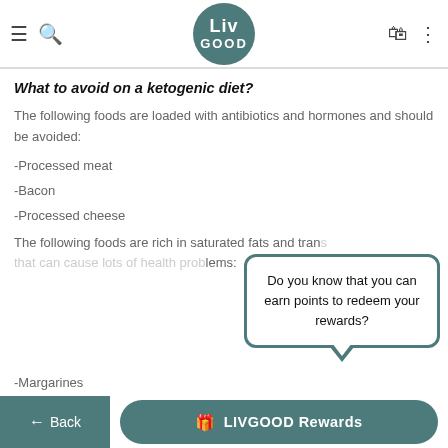LivGood
What to avoid on a ketogenic diet?
The following foods are loaded with antibiotics and hormones and should be avoided:
-Processed meat
-Bacon
-Processed cheese
The following foods are rich in saturated fats and trans fats that can cause lots of health problems:
-Margarines
Do you know that you can earn points to redeem your rewards?